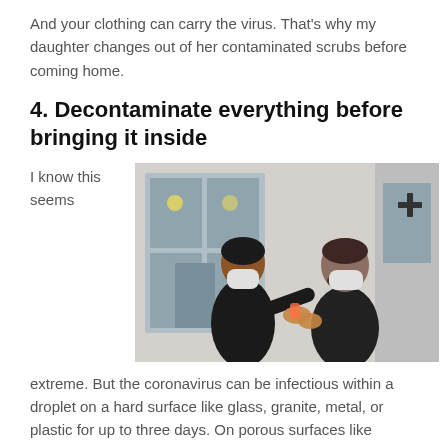And your clothing can carry the virus. That’s why my daughter changes out of her contaminated scrubs before coming home.
4. Decontaminate everything before bringing it inside
I know this seems
[Figure (photo): Two people wearing white face masks outdoors in front of a building with large glass windows, one person applying hand sanitizer to the other person's hands. Both are dressed in black.]
extreme. But the coronavirus can be infectious within a droplet on a hard surface like glass, granite, metal, or plastic for up to three days. On porous surfaces like